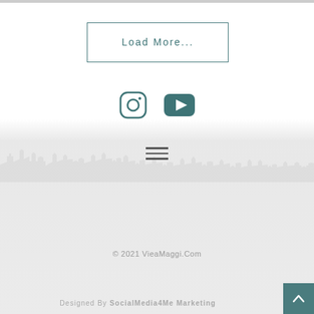[Figure (screenshot): Top image strip cropped at page edge]
Load More...
[Figure (infographic): Instagram and YouTube social media icons in teal color]
[Figure (illustration): City skyline silhouette in light gray]
[Figure (infographic): Hamburger menu icon with three horizontal lines]
© 2021 VieaMaggi.Com
Designed By SocialMedia4Me Marketing